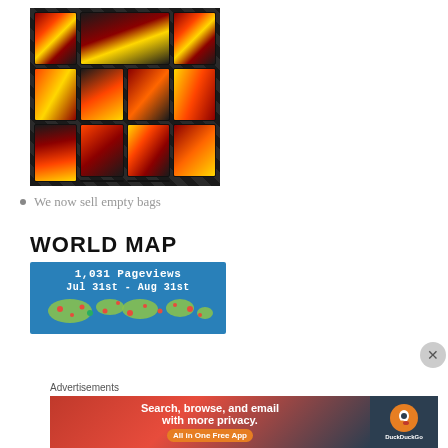[Figure (photo): Overhead photo of multiple dark packages/bags with colorful flame-style printed labels arranged on a surface]
We now sell empty bags
WORLD MAP
[Figure (infographic): World map widget showing 1,031 Pageviews Jul 31st - Aug 31st with red dots on map indicating visitor locations on a blue background]
Advertisements
[Figure (screenshot): DuckDuckGo advertisement banner: Search, browse, and email with more privacy. All in One Free App]